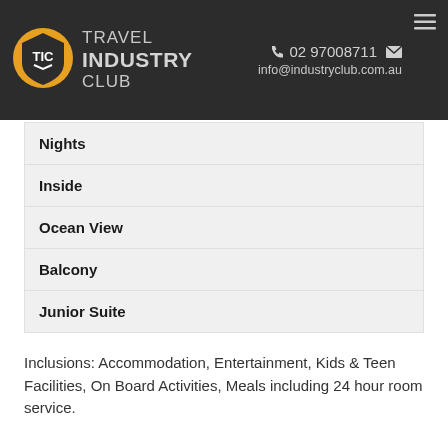TRAVEL INDUSTRY CLUB | 02 97008711 | info@industryclub.com.au
| Nights |
| Inside |
| Ocean View |
| Balcony |
| Junior Suite |
Inclusions: Accommodation, Entertainment, Kids & Teen Facilities, On Board Activities, Meals including 24 hour room service.